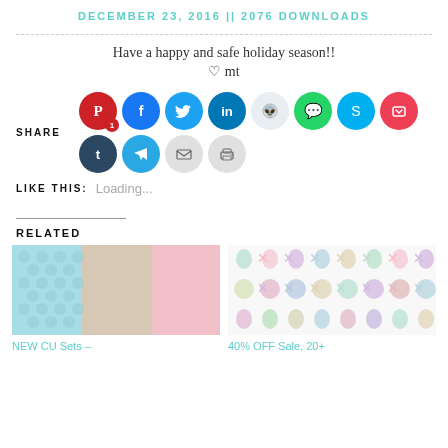DECEMBER 23, 2016 || 2076 DOWNLOADS
Have a happy and safe holiday season!!
♡ mt
SHARE
[Figure (infographic): Social sharing buttons: Pinterest (1), Facebook, Twitter, LinkedIn, Reddit, WhatsApp, Skype, Pocket, Tumblr, Telegram, Email, Print]
LIKE THIS: Loading...
RELATED
[Figure (photo): Related item thumbnail: paper patterns in blue, beige and pink - NEW CU Sets –]
NEW CU Sets –
[Figure (photo): Related item thumbnail: Easter egg decorative pattern - 40% OFF Sale, 20+]
40% OFF Sale, 20+